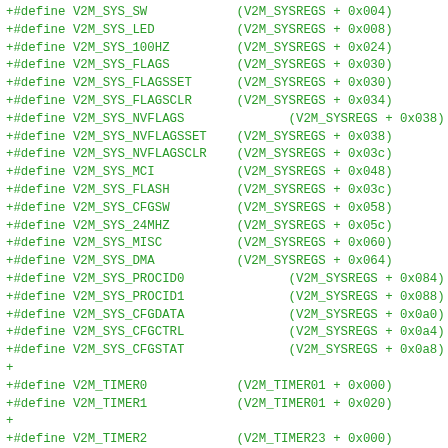+#define V2M_SYS_SW		(V2M_SYSREGS + 0x004)
+#define V2M_SYS_LED		(V2M_SYSREGS + 0x008)
+#define V2M_SYS_100HZ		(V2M_SYSREGS + 0x024)
+#define V2M_SYS_FLAGS		(V2M_SYSREGS + 0x030)
+#define V2M_SYS_FLAGSSET		(V2M_SYSREGS + 0x030)
+#define V2M_SYS_FLAGSCLR		(V2M_SYSREGS + 0x034)
+#define V2M_SYS_NVFLAGS			(V2M_SYSREGS + 0x038)
+#define V2M_SYS_NVFLAGSSET		(V2M_SYSREGS + 0x038)
+#define V2M_SYS_NVFLAGSCLR		(V2M_SYSREGS + 0x03c)
+#define V2M_SYS_MCI		(V2M_SYSREGS + 0x048)
+#define V2M_SYS_FLASH		(V2M_SYSREGS + 0x03c)
+#define V2M_SYS_CFGSW		(V2M_SYSREGS + 0x058)
+#define V2M_SYS_24MHZ		(V2M_SYSREGS + 0x05c)
+#define V2M_SYS_MISC		(V2M_SYSREGS + 0x060)
+#define V2M_SYS_DMA		(V2M_SYSREGS + 0x064)
+#define V2M_SYS_PROCID0			(V2M_SYSREGS + 0x084)
+#define V2M_SYS_PROCID1			(V2M_SYSREGS + 0x088)
+#define V2M_SYS_CFGDATA			(V2M_SYSREGS + 0x0a0)
+#define V2M_SYS_CFGCTRL			(V2M_SYSREGS + 0x0a4)
+#define V2M_SYS_CFGSTAT			(V2M_SYSREGS + 0x0a8)
+
+#define V2M_TIMER0		(V2M_TIMER01 + 0x000)
+#define V2M_TIMER1		(V2M_TIMER01 + 0x020)
+
+#define V2M_TIMER2		(V2M_TIMER23 + 0x000)
+#define V2M_TIMER3		(V2M_TIMER23 + 0x000)